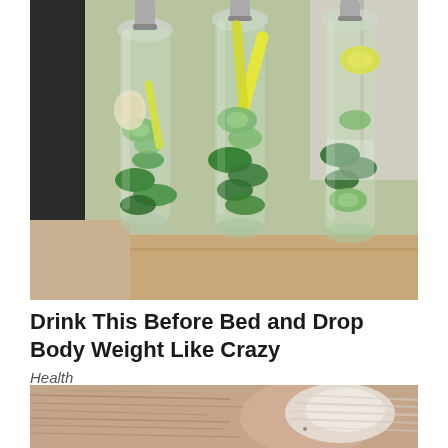[Figure (photo): Three large glass bottles filled with green infused water containing cucumber slices, lemon strips, and fresh mint leaves, sitting on a kitchen counter.]
Drink This Before Bed and Drop Body Weight Like Crazy
Health
[Figure (photo): Close-up photo of a person's face showing wrinkled, aged skin with a white cream or lotion applied to the nose area.]